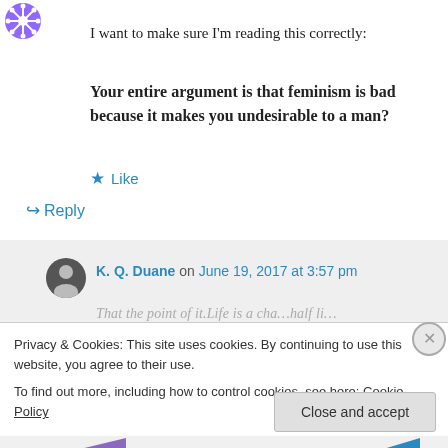[Figure (illustration): Purple snowflake/gear avatar icon in top left corner]
I want to make sure I'm reading this correctly:
Your entire argument is that feminism is bad because it makes you undesirable to a man?
★ Like
↳ Reply
K. Q. Duane on June 19, 2017 at 3:57 pm
Privacy & Cookies: This site uses cookies. By continuing to use this website, you agree to their use.
To find out more, including how to control cookies, see here: Cookie Policy
Close and accept